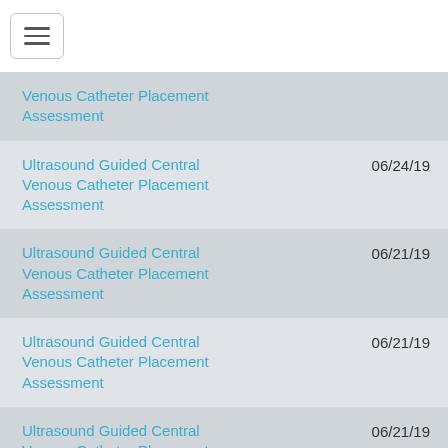[Figure (screenshot): Hamburger menu button (three horizontal lines) in top navigation bar]
Venous Catheter Placement Assessment
Ultrasound Guided Central Venous Catheter Placement Assessment 06/24/19
Ultrasound Guided Central Venous Catheter Placement Assessment 06/21/19
Ultrasound Guided Central Venous Catheter Placement Assessment 06/21/19
Ultrasound Guided Central Venous Catheter Placement Assessment 06/21/19